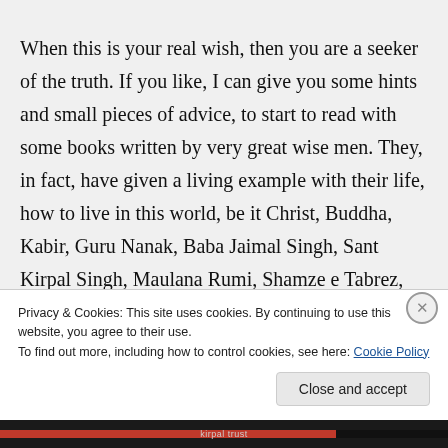When this is your real wish, then you are a seeker of the truth. If you like, I can give you some hints and small pieces of advice, to start to read with some books written by very great wise men. They, in fact, have given a living example with their life, how to live in this world, be it Christ, Buddha, Kabir, Guru Nanak, Baba Jaimal Singh, Sant Kirpal Singh, Maulana Rumi, Shamze e Tabrez, etc. – they all followed the same teaching: of inner light and sound
Privacy & Cookies: This site uses cookies. By continuing to use this website, you agree to their use.
To find out more, including how to control cookies, see here: Cookie Policy